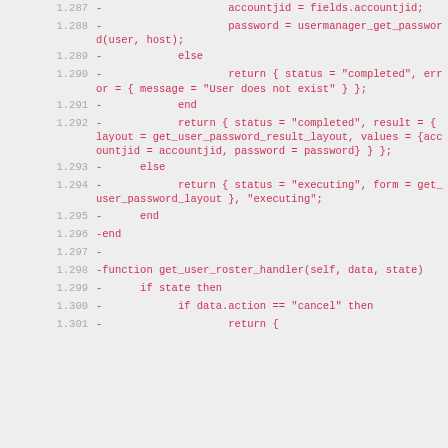Code listing lines 1,287–1,301 showing Lua/scripting source code with line numbers and code content in a diff/source view format.